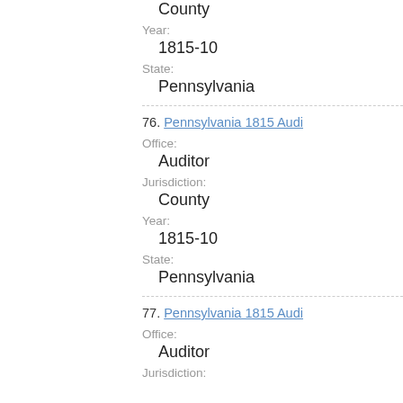County
Year:
1815-10
State:
Pennsylvania
76. Pennsylvania 1815 Audi...
Office:
Auditor
Jurisdiction:
County
Year:
1815-10
State:
Pennsylvania
77. Pennsylvania 1815 Audi...
Office:
Auditor
Jurisdiction: